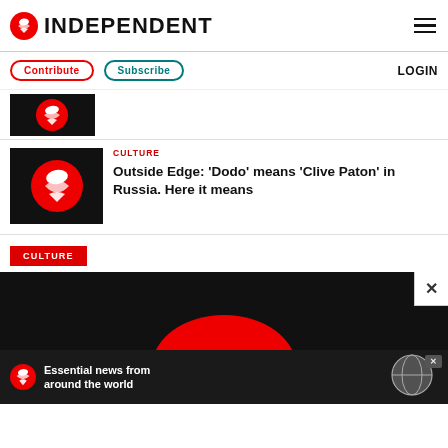INDEPENDENT
Contribute | Subscribe | LOGIN
[Figure (photo): Independent eagle logo thumbnail on black background]
CULTURE
Outside Edge: 'Dodo' means 'Clive Paton' in Russia. Here it means
CULTURE
[Figure (photo): Large black card with red semicircle Independent logo partially visible]
[Figure (photo): Advertisement banner: Independent eagle logo with text 'Essential news from around the world' and globe graphic]